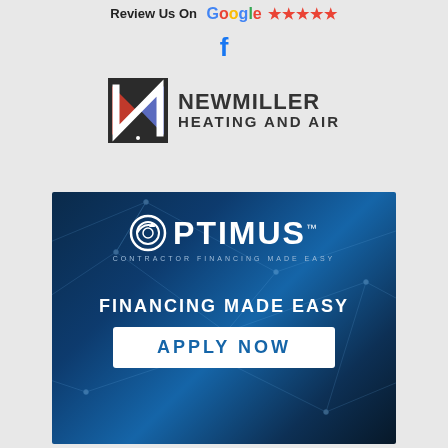Review Us On G ★★★★★
[Figure (logo): Facebook 'f' icon]
[Figure (logo): Newmiller Heating and Air logo with stylized N icon in red, white, and blue on dark background]
[Figure (infographic): Optimus contractor financing banner with dark blue network background. Text: OPTIMUS TM, CONTRACTOR FINANCING MADE EASY, FINANCING MADE EASY, APPLY NOW button]